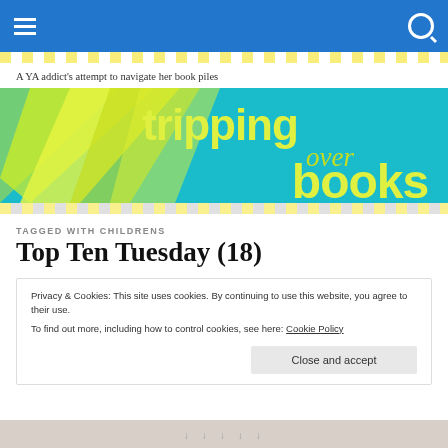Navigation header with hamburger menu and search icon
A YA addict's attempt to navigate her book piles
[Figure (logo): Tripping Over Books blog banner with teal background, yellow-green diagonal stripes on left, and yellow-green text reading 'tripping over books']
TAGGED WITH CHILDRENS
Top Ten Tuesday (18)
Privacy & Cookies: This site uses cookies. By continuing to use this website, you agree to their use.
To find out more, including how to control cookies, see here: Cookie Policy
Close and accept